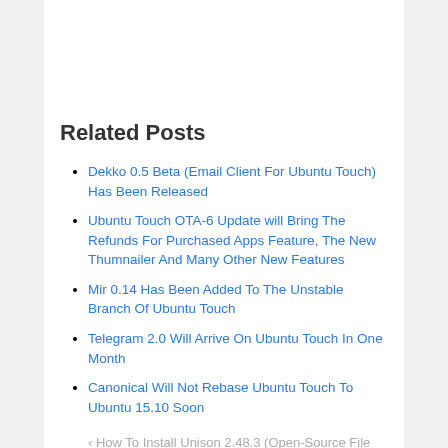Related Posts
Dekko 0.5 Beta (Email Client For Ubuntu Touch) Has Been Released
Ubuntu Touch OTA-6 Update will Bring The Refunds For Purchased Apps Feature, The New Thumnailer And Many Other New Features
Mir 0.14 Has Been Added To The Unstable Branch Of Ubuntu Touch
Telegram 2.0 Will Arrive On Ubuntu Touch In One Month
Canonical Will Not Rebase Ubuntu Touch To Ubuntu 15.10 Soon
‹ How To Install Unison 2.48.3 (Open-Source File